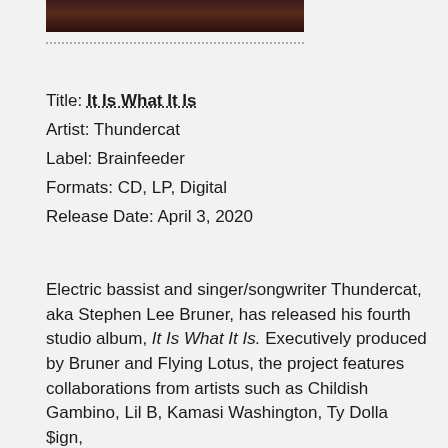[Figure (photo): Partial view of an album cover photo, dark reddish-brown tones, appears to be a portrait]
Title: It Is What It Is
Artist: Thundercat
Label: Brainfeeder
Formats: CD, LP, Digital
Release Date: April 3, 2020
Electric bassist and singer/songwriter Thundercat, aka Stephen Lee Bruner, has released his fourth studio album, It Is What It Is. Executively produced by Bruner and Flying Lotus, the project features collaborations from artists such as Childish Gambino, Lil B, Kamasi Washington, Ty Dolla $ign,